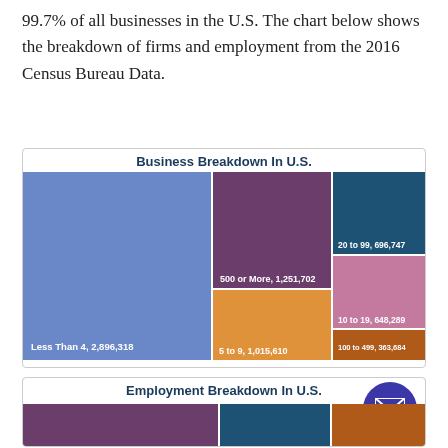99.7% of all businesses in the U.S. The chart below shows the breakdown of firms and employment from the 2016 Census Bureau Data.
[Figure (other): Treemap showing business breakdown in U.S. by firm size: Less Than 4: 2,896,318; 500 or More: 1,251,702; 5 to 9: 1,015,610; 20 to 99: 696,747; 10 to 19: 648,289; 100 to 499: 363,684]
[Figure (other): Treemap showing employment breakdown in U.S. (partially visible), with email icon overlay]